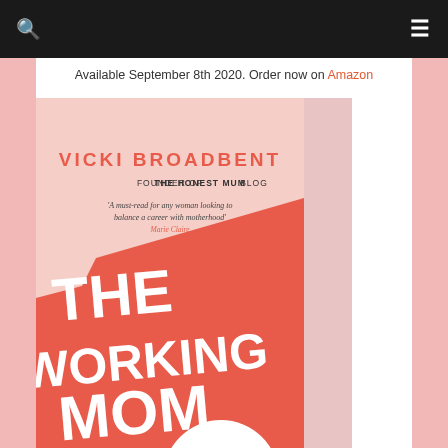Available September 8th 2020. Order now on Amazon
[Figure (illustration): Book cover of 'The Working Mom' by Vicki Broadbent, Founder of The Honest Mum Blog. Pink and coral cover with bold white title text. Subtitle: Your Guide to Surviving and Thriving at Work and at Home. Quote: 'A must-read for any woman looking to balance a career with motherhood' - Marie Claire]